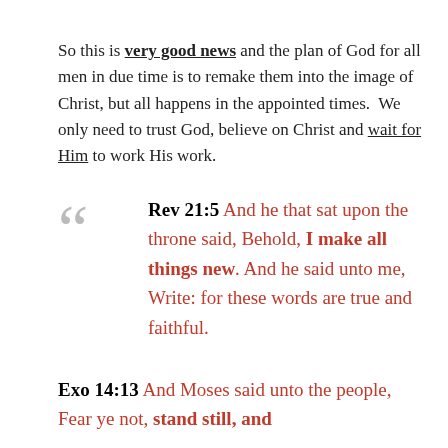So this is very good news and the plan of God for all men in due time is to remake them into the image of Christ, but all happens in the appointed times. We only need to trust God, believe on Christ and wait for Him to work His work.
Rev 21:5 And he that sat upon the throne said, Behold, I make all things new. And he said unto me, Write: for these words are true and faithful.
Exo 14:13 And Moses said unto the people, Fear ye not, stand still, and